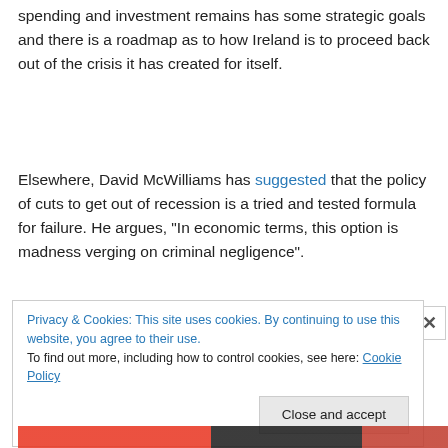spending and investment remains has some strategic goals and there is a roadmap as to how Ireland is to proceed back out of the crisis it has created for itself.
Elsewhere, David McWilliams has suggested that the policy of cuts to get out of recession is a tried and tested formula for failure. He argues, “In economic terms, this option is madness verging on criminal negligence”.
Privacy & Cookies: This site uses cookies. By continuing to use this website, you agree to their use.
To find out more, including how to control cookies, see here: Cookie Policy
[Close and accept]